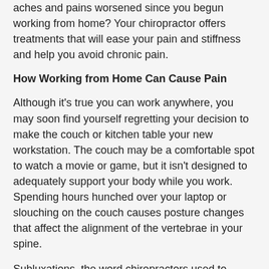aches and pains worsened since you begun working from home? Your chiropractor offers treatments that will ease your pain and stiffness and help you avoid chronic pain.
How Working from Home Can Cause Pain
Although it's true you can work anywhere, you may soon find yourself regretting your decision to make the couch or kitchen table your new workstation. The couch may be a comfortable spot to watch a movie or game, but it isn't designed to adequately support your body while you work. Spending hours hunched over your laptop or slouching on the couch causes posture changes that affect the alignment of the vertebrae in your spine.
Subluxations, the word chiropractors used to describe spinal misalignments, are a common cause of neck, back and joint pain. Misalignments also increase tension on your muscles, ligaments and tendons, causing muscle pain, soreness, stiffness, spasms and reduced range of motion. If a subluxation affects your neck, you may develop painful headaches that make it difficult to concentrate on your work.